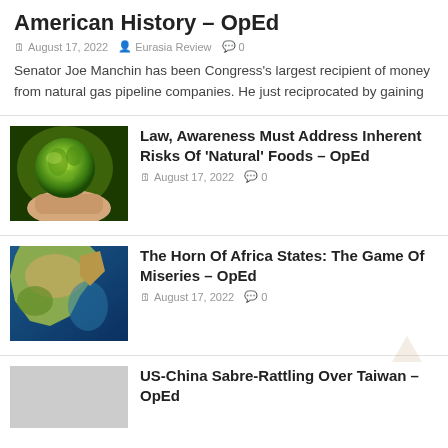American History – OpEd
August 17, 2022   Eurasia Review   0
Senator Joe Manchin has been Congress's largest recipient of money from natural gas pipeline companies. He just reciprocated by gaining
[Figure (photo): A hand holding a glowing green Earth globe]
Law, Awareness Must Address Inherent Risks Of 'Natural' Foods – OpEd
August 17, 2022   0
[Figure (photo): Satellite image of the Horn of Africa from space]
The Horn Of Africa States: The Game Of Miseries – OpEd
August 17, 2022   0
US-China Sabre-Rattling Over Taiwan – OpEd